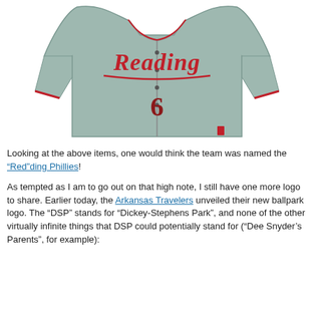[Figure (photo): A gray baseball jersey with 'Reading' written in red cursive script on the chest and the number 6, shown from the front.]
Looking at the above items, one would think the team was named the “Red”ding Phillies!
As tempted as I am to go out on that high note, I still have one more logo to share. Earlier today, the Arkansas Travelers unveiled their new ballpark logo. The “DSP” stands for “Dickey-Stephens Park”, and none of the other virtually infinite things that DSP could potentially stand for (“Dee Snyder’s Parents”, for example):